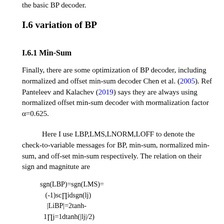the basic BP decoder.
I.6 variation of BP
I.6.1 Min-Sum
Finally, there are some optimization of BP decoder, including normalized and offset min-sum decoder Chen et al. (2005). Ref Panteleev and Kalachev (2019) says they are always using normalized offset min-sum decoder with mormalization factor α=0.625.
Here I use LBP,LMS,LNORM,LOFF to denote the check-to-variable messages for BP, min-sum, normalized min-sum, and off-set min-sum respectively. The relation on their sign and magnitute are